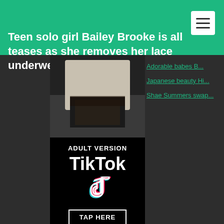Teen solo girl Bailey Brooke is all teases as she removes her lace underwear
[Figure (photo): Partial photo of a person wearing lace underwear]
Adorable babes B...
Japanese beauty Hi...
Shae Summers swap...
[Figure (advertisement): Adult Version TikTok advertisement with TikTok logo and TAP HERE button]